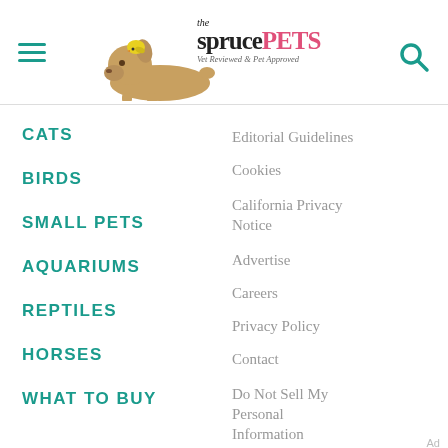the spruce PETS — Vet Reviewed & Pet Approved
CATS
BIRDS
SMALL PETS
AQUARIUMS
REPTILES
HORSES
WHAT TO BUY
Editorial Guidelines
Cookies
California Privacy Notice
Advertise
Careers
Privacy Policy
Contact
Do Not Sell My Personal Information
Ad